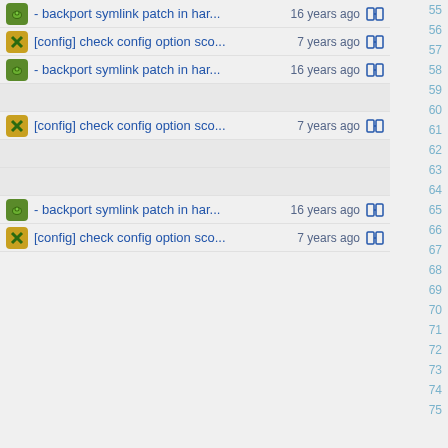- backport symlink patch in har... 16 years ago  55
[config] check config option sco... 7 years ago  56
- backport symlink patch in har... 16 years ago  57
[config] check config option sco... 7 years ago  59
- backport symlink patch in har... 16 years ago  62
[config] check config option sco... 7 years ago  63